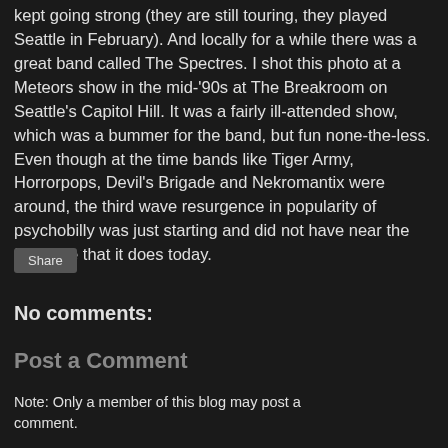kept going strong (they are still touring, they played Seattle in February). And locally for a while there was a great band called The Spectres. I shot this photo at a Meteors show in the mid-'90s at The Breakroom on Seattle's Capitol Hill. It was a fairly ill-attended show, which was a bummer for the band, but fun none-the-less. Even though at the time bands like Tiger Army, Horrorpops, Devil's Brigade and Nekromantix were around, the third wave resurgence in popularity of psychobilly was just starting and did not have near the fan-base that it does today.
Share
No comments:
Post a Comment
Note: Only a member of this blog may post a comment.